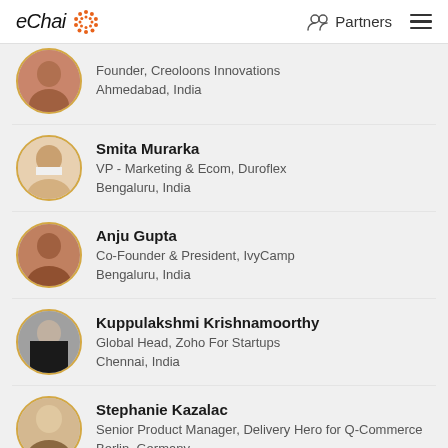eChai | Partners
Founder, Creoloons Innovations | Ahmedabad, India
Smita Murarka | VP - Marketing & Ecom, Duroflex | Bengaluru, India
Anju Gupta | Co-Founder & President, IvyCamp | Bengaluru, India
Kuppulakshmi Krishnamoorthy | Global Head, Zoho For Startups | Chennai, India
Stephanie Kazalac | Senior Product Manager, Delivery Hero for Q-Commerce | Berlin, Germany
Vinutha Rallapalli | Director of Ecosystem Office, T-Hub | Hyderabad, India